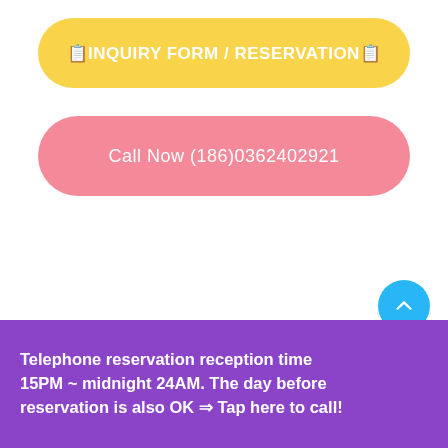📋INQUIRY FORM / RESERVATION📋
Call Now (186)0362402921
Telephone reservation reception time 15PM ~ midnight 24AM. The day before reservation is also OK ⇒ Tap here to call!